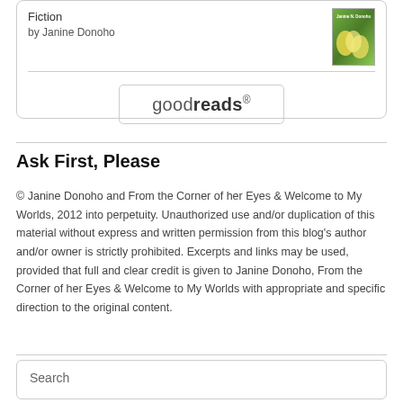[Figure (other): Goodreads book widget showing a book titled Fiction by Janine Donoho with a book cover image and Goodreads button]
Ask First, Please
© Janine Donoho and From the Corner of her Eyes & Welcome to My Worlds, 2012 into perpetuity. Unauthorized use and/or duplication of this material without express and written permission from this blog's author and/or owner is strictly prohibited. Excerpts and links may be used, provided that full and clear credit is given to Janine Donoho, From the Corner of her Eyes & Welcome to My Worlds with appropriate and specific direction to the original content.
[Figure (other): Search widget box with Search label]